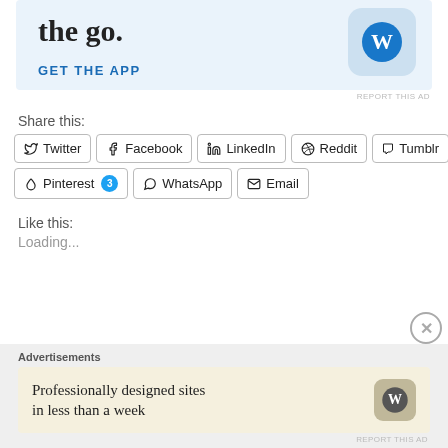[Figure (screenshot): WordPress app advertisement banner with light blue background, large text partially visible reading 'the go.', GET THE APP link, and WordPress logo icon]
REPORT THIS AD
Share this:
Twitter
Facebook
LinkedIn
Reddit
Tumblr
Pinterest 3
WhatsApp
Email
Like this:
Loading...
Advertisements
[Figure (screenshot): WordPress advertisement banner with cream/beige background reading 'Professionally designed sites in less than a week' with WordPress logo]